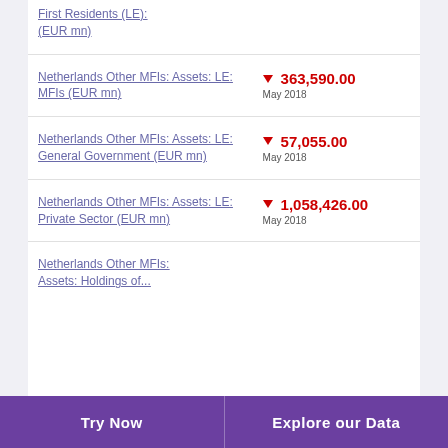First Residents (LE): (EUR mn)
Netherlands Other MFIs: Assets: LE: MFIs (EUR mn)
Netherlands Other MFIs: Assets: LE: General Government (EUR mn)
Netherlands Other MFIs: Assets: LE: Private Sector (EUR mn)
Netherlands Other MFIs: Assets: Holdings of...
Try Now   Explore our Data